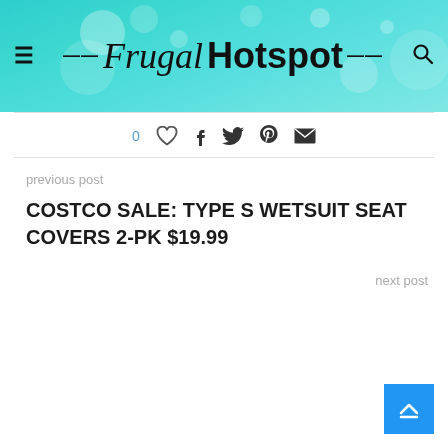Frugal Hotspot
0 ♡ f 𝕋  pinterest email
previous post
COSTCO SALE: TYPE S WETSUIT SEAT COVERS 2-PK $19.99
next post